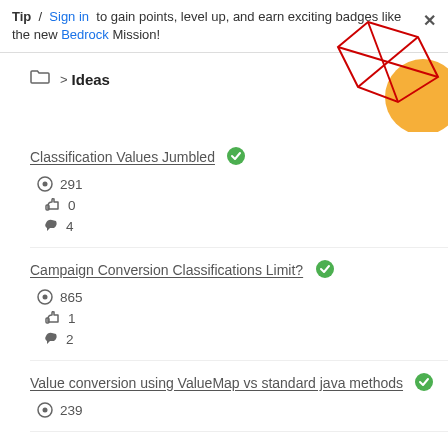Tip / Sign in to gain points, level up, and earn exciting badges like the new Bedrock Mission!
Ideas
Classification Values Jumbled — views: 291, likes: 0, replies: 4
Campaign Conversion Classifications Limit? — views: 865, likes: 1, replies: 2
Value conversion using ValueMap vs standard java methods — views: 239